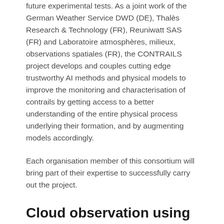future experimental tests. As a joint work of the German Weather Service DWD (DE), Thalès Research & Technology (FR), Reuniwatt SAS (FR) and Laboratoire atmosphères, milieux, observations spatiales (FR), the CONTRAILS project develops and couples cutting edge trustworthy AI methods and physical models to improve the monitoring and characterisation of contrails by getting access to a better understanding of the entire physical process underlying their formation, and by augmenting models accordingly.
Each organisation member of this consortium will bring part of their expertise to successfully carry out the project.
Cloud observation using sky imagers
Reuniwatt is an expert in cloud observation and forecasting. Given this expertise, Reuniwatt will provide sky imagers for visible and infrared wavelengths for the CONTRAILS project, to allow a state-of-the-art assessment